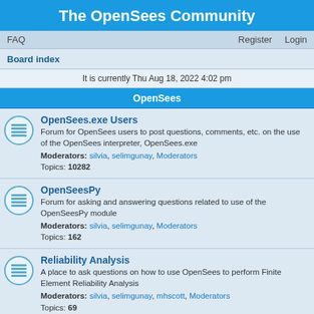The OpenSees Community
FAQ    Register    Login
Board index
It is currently Thu Aug 18, 2022 4:02 pm
OpenSees
OpenSees.exe Users
Forum for OpenSees users to post questions, comments, etc. on the use of the OpenSees interpreter, OpenSees.exe
Moderators: silvia, selimgunay, Moderators
Topics: 10282
OpenSeesPy
Forum for asking and answering questions related to use of the OpenSeesPy module
Moderators: silvia, selimgunay, Moderators
Topics: 162
Reliability Analysis
A place to ask questions on how to use OpenSees to perform Finite Element Reliability Analysis
Moderators: silvia, selimgunay, mhscott, Moderators
Topics: 69
Framework
For developers writing C++, Fortran, Java, code who have questions or comments to make.
Moderators: silvia, selimgunay, Moderators